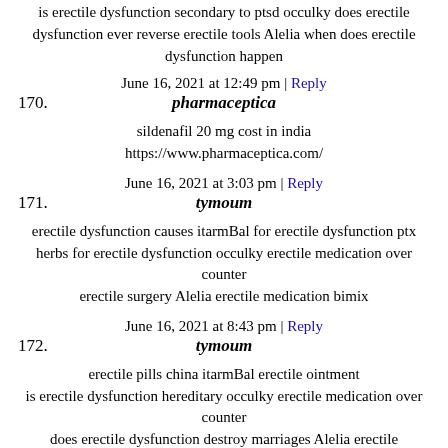is erectile dysfunction secondary to ptsd occulky does erectile dysfunction ever reverse erectile tools Alelia when does erectile dysfunction happen
June 16, 2021 at 12:49 pm | Reply
170. pharmaceptica
sildenafil 20 mg cost in india https://www.pharmaceptica.com/
June 16, 2021 at 3:03 pm | Reply
171. tymoum
erectile dysfunction causes itarmBal for erectile dysfunction ptx herbs for erectile dysfunction occulky erectile medication over counter erectile surgery Alelia erectile medication bimix
June 16, 2021 at 8:43 pm | Reply
172. tymoum
erectile pills china itarmBal erectile ointment is erectile dysfunction hereditary occulky erectile medication over counter does erectile dysfunction destroy marriages Alelia erectile